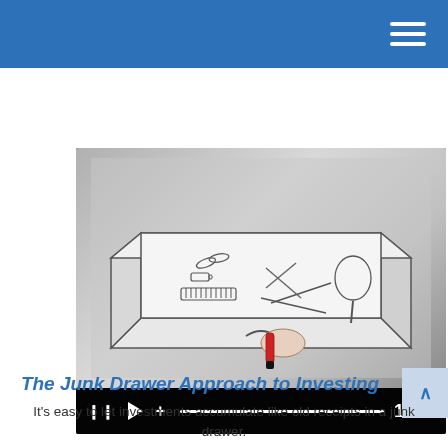[Figure (screenshot): Video player showing a hand drawing a junk drawer illustration with miscellaneous items inside. Video controls visible at bottom showing pause, play, and volume icons, a progress bar, and timestamp 1:09. The drawing is a whiteboard-animation style sketch on a tablet.]
The Junk Drawer Approach to Investing
It's easy to let investments accumulate like old receipts in a junk drawer.